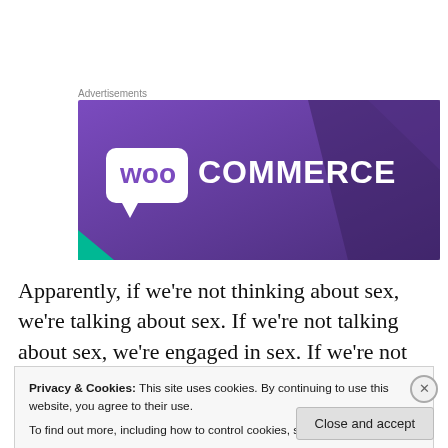Advertisements
[Figure (logo): WooCommerce advertisement banner with purple gradient background and white WooCommerce logo]
Apparently, if we're not thinking about sex, we're talking about sex. If we're not talking about sex, we're engaged in sex. If we're not engaged in sex, we're thinking and talking and planning on becoming engaged in sex. Whow... no
Privacy & Cookies: This site uses cookies. By continuing to use this website, you agree to their use.
To find out more, including how to control cookies, see here: Cookie Policy
Close and accept